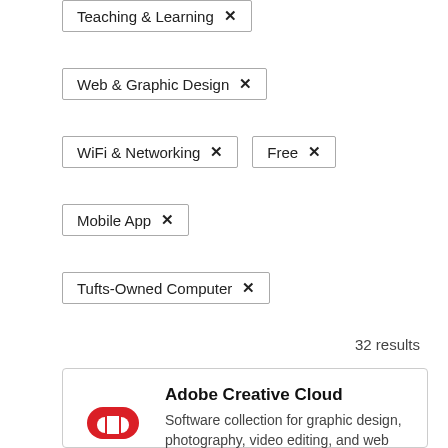Teaching & Learning ×
Web & Graphic Design ×
WiFi & Networking ×
Free ×
Mobile App ×
Tufts-Owned Computer ×
32 results
[Figure (logo): Adobe Creative Cloud red logo with two interlocked cloud shapes]
Adobe Creative Cloud
Software collection for graphic design, photography, video editing, and web development.